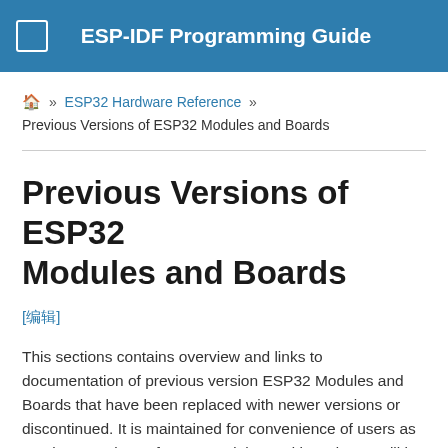ESP-IDF Programming Guide
🏠 » ESP32 Hardware Reference » Previous Versions of ESP32 Modules and Boards
Previous Versions of ESP32 Modules and Boards
[编辑]
This sections contains overview and links to documentation of previous version ESP32 Modules and Boards that have been replaced with newer versions or discontinued. It is maintained for convenience of users as previous versions of some modules and boards are still in use and some may still be available for purchase